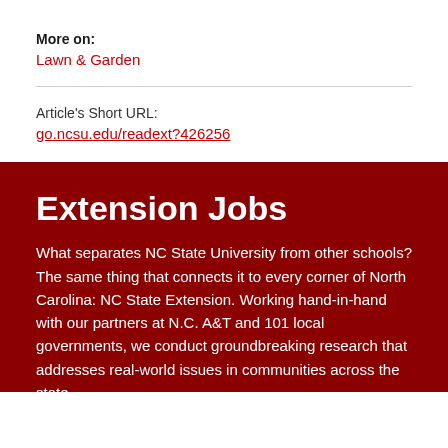More on:
Lawn & Garden
Article's Short URL:
go.ncsu.edu/readext?426256
Extension Jobs
What separates NC State University from other schools? The same thing that connects it to every corner of North Carolina: NC State Extension. Working hand-in-hand with our partners at N.C. A&T and 101 local governments, we conduct groundbreaking research that addresses real-world issues in communities across the state.
» Why Work in Extension?